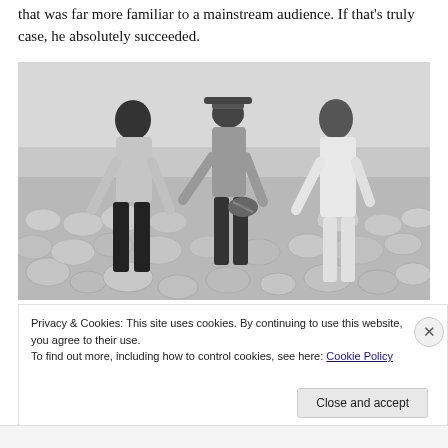that was far more familiar to a mainstream audience. If that's truly case, he absolutely succeeded.
[Figure (photo): Black and white photograph of three men standing on a rocky riverbed or beach. The man on the left wears a light knit sweater and dark pants with head bowed. The man in the middle wears a hat and cardigan, holding something patterned. The man on the right wears a white outfit and appears to be looking at what the middle man holds.]
Privacy & Cookies: This site uses cookies. By continuing to use this website, you agree to their use.
To find out more, including how to control cookies, see here: Cookie Policy
Close and accept